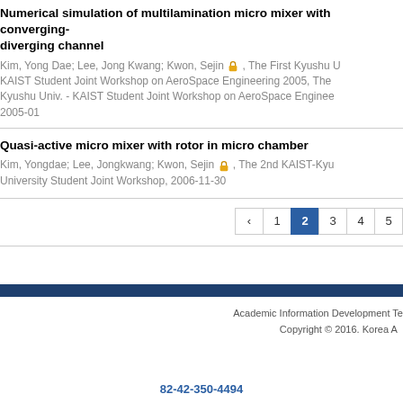Numerical simulation of multilamination micro mixer with converging-diverging channel
Kim, Yong Dae; Lee, Jong Kwang; Kwon, Sejin, The First Kyushu Univ. - KAIST Student Joint Workshop on AeroSpace Engineering 2005, The Kyushu Univ. - KAIST Student Joint Workshop on AeroSpace Engineering, 2005-01
Quasi-active micro mixer with rotor in micro chamber
Kim, Yongdae; Lee, Jongkwang; Kwon, Sejin, The 2nd KAIST-Kyushu University Student Joint Workshop, 2006-11-30
Pagination: < 1 2 3 4 5
Academic Information Development Te...
Copyright © 2016. Korea A...
82-42-350-4494